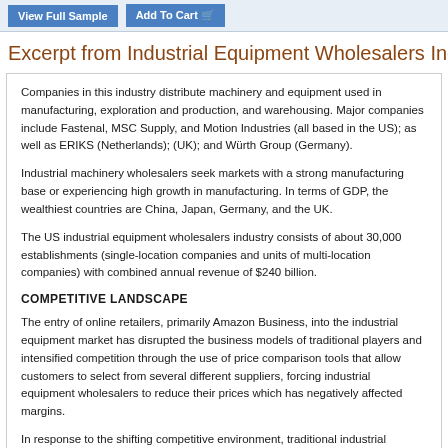View Full Sample | Add To Cart
Excerpt from Industrial Equipment Wholesalers Indu...
Companies in this industry distribute machinery and equipment used in manufacturing, exploration and production, and warehousing. Major companies include Fastenal, MSC Supply, and Motion Industries (all based in the US); as well as ERIKS (Netherlands); (UK); and Würth Group (Germany).
Industrial machinery wholesalers seek markets with a strong manufacturing base or experiencing high growth in manufacturing. In terms of GDP, the wealthiest countries are China, Japan, Germany, and the UK.
The US industrial equipment wholesalers industry consists of about 30,000 establishments (single-location companies and units of multi-location companies) with combined annual revenue of $240 billion.
COMPETITIVE LANDSCAPE
The entry of online retailers, primarily Amazon Business, into the industrial equipment market has disrupted the business models of traditional players and intensified competition through the use of price comparison tools that allow customers to select from several different suppliers, forcing industrial equipment wholesalers to reduce their prices which has negatively affected margins.
In response to the shifting competitive environment, traditional industrial equipment wholesalers with mortar locations have shuttered some operations and shifted resources toward...